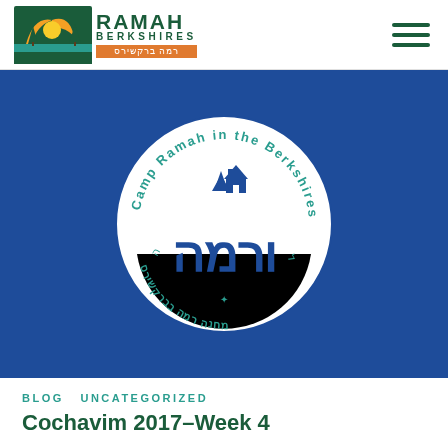[Figure (logo): Ramah Berkshires logo with camp icon, 'RAMAH BERKSHIRES' text in green, and Hebrew subtitle in orange bar]
[Figure (illustration): Blue background with Camp Ramah in the Berkshires circular white seal/logo featuring Hebrew letters and English text around border]
BLOG  UNCATEGORIZED
Cochavim 2017–Week 4